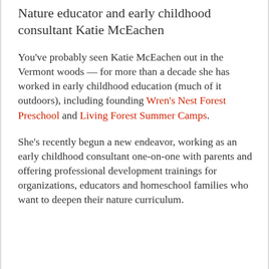Nature educator and early childhood consultant Katie McEachen
You've probably seen Katie McEachen out in the Vermont woods — for more than a decade she has worked in early childhood education (much of it outdoors), including founding Wren's Nest Forest Preschool and Living Forest Summer Camps.
She's recently begun a new endeavor, working as an early childhood consultant one-on-one with parents and offering professional development trainings for organizations, educators and homeschool families who want to deepen their nature curriculum.